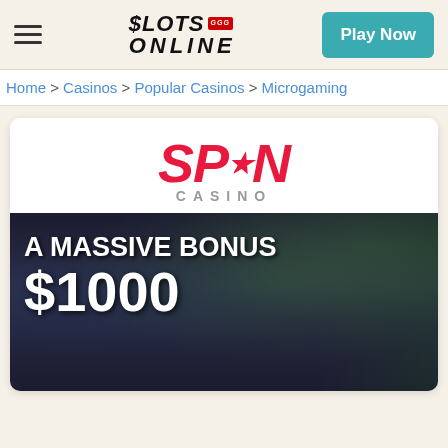$LOTS ONLINE | Play Now
Home > Casinos > Popular Casinos > Microgaming
[Figure (logo): Spin Casino logo with red SPIN text and grey CASINO subtitle]
[Figure (photo): Spin Casino promotional banner showing 'A MASSIVE BONUS $1000' text over a nighttime city/casino skyline background]